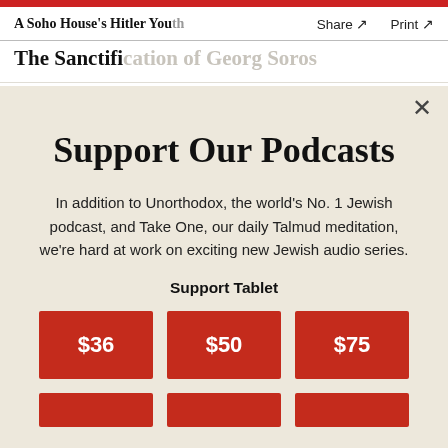A Soho House's Hitler Youth   Share ↗   Print ↗
The Sanctification of Georg Soros
Support Our Podcasts
In addition to Unorthodox, the world's No. 1 Jewish podcast, and Take One, our daily Talmud meditation, we're hard at work on exciting new Jewish audio series.
Support Tablet
$36
$50
$75